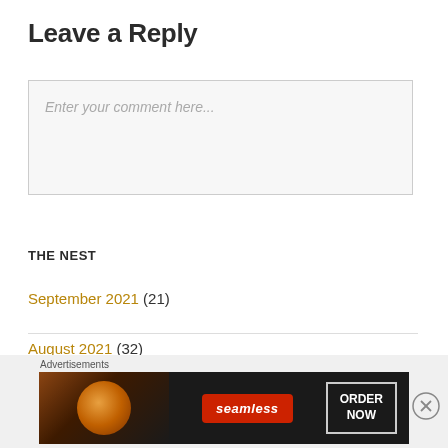Leave a Reply
Enter your comment here...
THE NEST
September 2021 (21)
August 2021 (32)
[Figure (other): Seamless food delivery advertisement banner with pizza image, red Seamless logo badge, and ORDER NOW button on dark background]